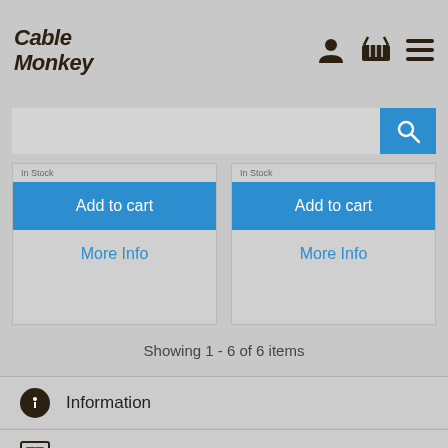Cable Monkey
[Figure (screenshot): Search bar with blue search button containing magnifying glass icon]
[Figure (screenshot): Two product cards each showing 'In Stock', 'Add to cart' blue button, and 'More Info' link]
Showing 1 - 6 of 6 items
Information
Company
My Account